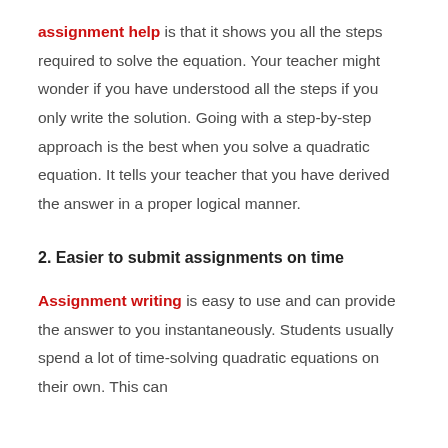assignment help is that it shows you all the steps required to solve the equation. Your teacher might wonder if you have understood all the steps if you only write the solution. Going with a step-by-step approach is the best when you solve a quadratic equation. It tells your teacher that you have derived the answer in a proper logical manner.
2. Easier to submit assignments on time
Assignment writing is easy to use and can provide the answer to you instantaneously. Students usually spend a lot of time-solving quadratic equations on their own. This can